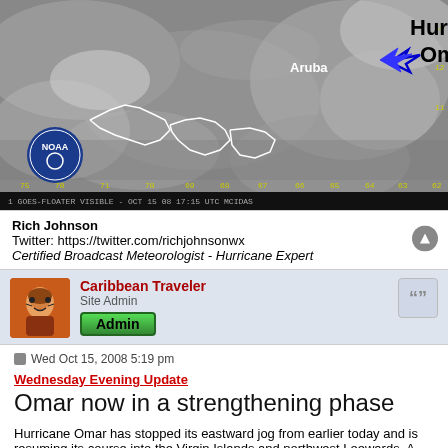[Figure (photo): GOES-floater visible satellite image dated OCT 15 08 17:15 UTC showing Hurricane Omar and Aruba labeled, with NOAA logo in bottom left corner, and a blue arrow pointing to a spiral cloud system.]
Rich Johnson
Twitter: https://twitter.com/richjohnsonwx
Certified Broadcast Meteorologist - Hurricane Expert
Caribbean Traveler
Site Admin
Admin
Wed Oct 15, 2008 5:19 pm
Wednesday Evening Update
Omar now in a strengthening phase
Hurricane Omar has stopped its eastward jog from earlier today and is resuming its course into the Virgin Islands and northwest Leewards. A recent Hurricane Hunter estimated the top sustained surface winds at 80 knots or 92 mph. The recon from a half an hour ago measured a 969 mb